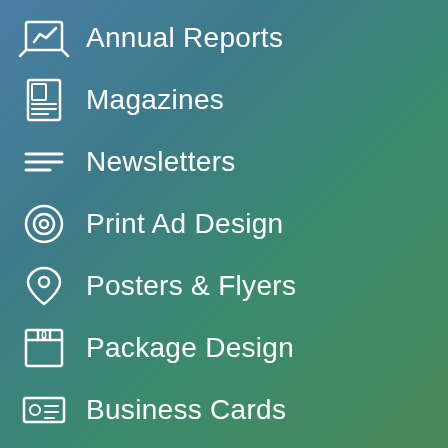Annual Reports
Magazines
Newsletters
Print Ad Design
Posters & Flyers
Package Design
Business Cards